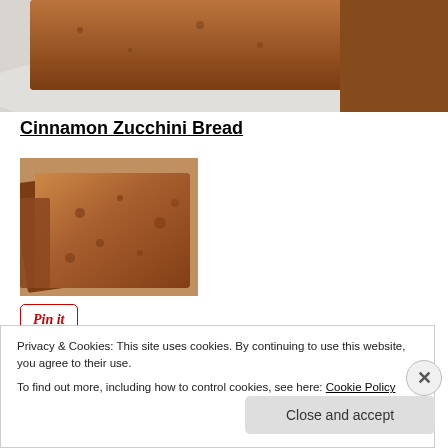[Figure (photo): Close-up photo of sliced zucchini bread on a white plate, showing the brown crumb texture]
Cinnamon Zucchini Bread
[Figure (photo): Photo of multiple slices of cinnamon zucchini bread stacked on a white surface, showing brown dense crumb]
[Figure (other): Pin It button]
Privacy & Cookies: This site uses cookies. By continuing to use this website, you agree to their use.
To find out more, including how to control cookies, see here: Cookie Policy
Close and accept